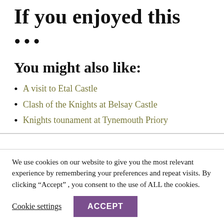If you enjoyed this
...
You might also like:
A visit to Etal Castle
Clash of the Knights at Belsay Castle
Knights tounament at Tynemouth Priory
We use cookies on our website to give you the most relevant experience by remembering your preferences and repeat visits. By clicking “Accept” , you consent to the use of ALL the cookies.
Cookie settings   ACCEPT